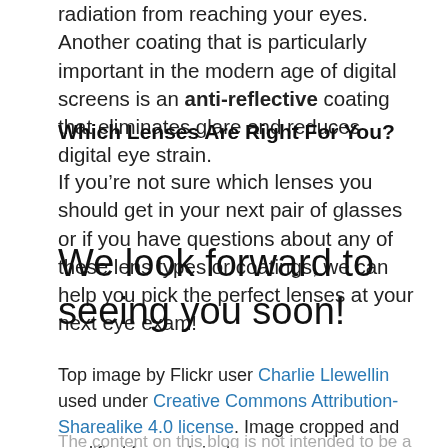radiation from reaching your eyes. Another coating that is particularly important in the modern age of digital screens is an anti-reflective coating that eliminates glare and reduces digital eye strain.
Which Lenses Are Right For You?
If you’re not sure which lenses you should get in your next pair of glasses or if you have questions about any of these lens types or coatings, we can help you pick the perfect lenses at your next eye exam!
We look forward to seeing you soon!
Top image by Flickr user Charlie Llewellin used under Creative Commons Attribution-Sharealike 4.0 license. Image cropped and modified from original.
The content on this blog is not intended to be a